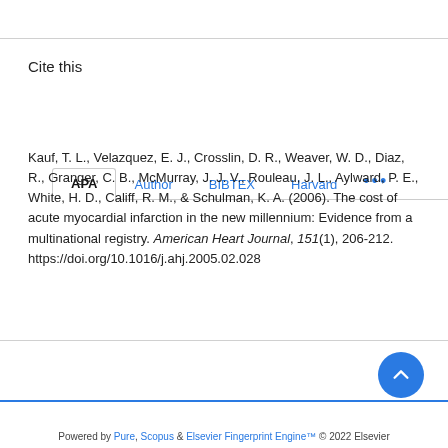Cite this
APA | Author | BIBTEX | Harvard | ...
Kauf, T. L., Velazquez, E. J., Crosslin, D. R., Weaver, W. D., Diaz, R., Granger, C. B., McMurray, J. J. V., Rouleau, J. L., Aylward, P. E., White, H. D., Califf, R. M., & Schulman, K. A. (2006). The cost of acute myocardial infarction in the new millennium: Evidence from a multinational registry. American Heart Journal, 151(1), 206-212. https://doi.org/10.1016/j.ahj.2005.02.028
Powered by Pure, Scopus & Elsevier Fingerprint Engine™ © 2022 Elsevier